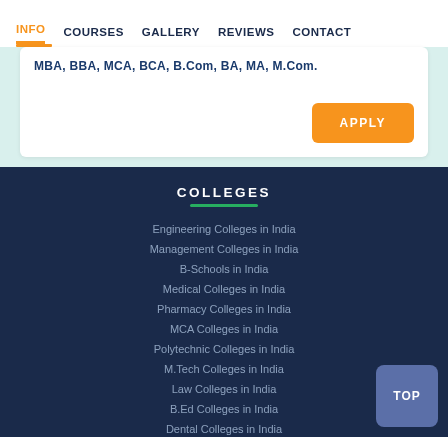INFO  COURSES  GALLERY  REVIEWS  CONTACT
MBA, BBA, MCA, BCA, B.Com, BA, MA, M.Com.
APPLY
COLLEGES
Engineering Colleges in India
Management Colleges in India
B-Schools in India
Medical Colleges in India
Pharmacy Colleges in India
MCA Colleges in India
Polytechnic Colleges in India
M.Tech Colleges in India
Law Colleges in India
B.Ed Colleges in India
Dental Colleges in India
Architecture Colleges in India